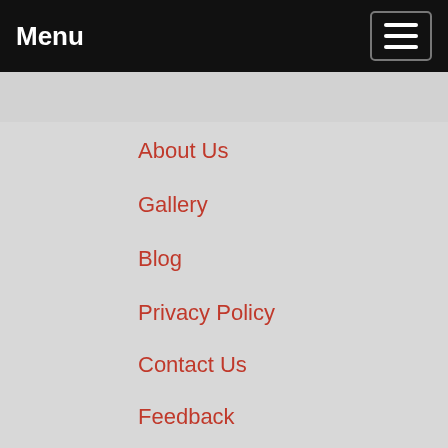Menu
About Us
Gallery
Blog
Privacy Policy
Contact Us
Feedback
[Figure (logo): SSL Encryption badge with a green padlock icon containing a white checkmark, and text 'SSL' in large olive/green letters with 'ENCRYPTION' below in gray]
Service Areas: